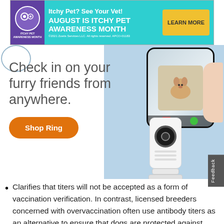[Figure (infographic): Advertisement banner: Itchy Pet? See Your Vet! August is Itchy Pet Awareness Month. Learn More button. ©2021 Zoetis Services LLC. All rights reserved. APCO-01183]
[Figure (infographic): Ring brand advertisement showing a smartphone with a puppy video feed, a Ring indoor camera, and the text 'Check in on your furry friends from anywhere.' with an orange 'Shop Ring' button on a light blue background.]
Clarifies that titers will not be accepted as a form of vaccination verification. In contrast, licensed breeders concerned with overvaccination often use antibody titers as an alternative to ensure that dogs are protected against infectious diseases.  We recommend